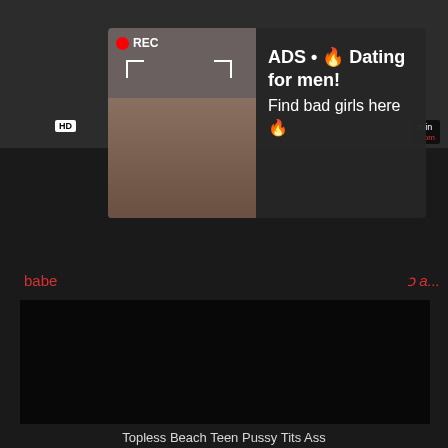[Figure (screenshot): Top strip with dark background showing video thumbnail previews, HD badge on left, duration badge on right with .com text in orange-red]
[Figure (screenshot): Advertisement overlay popup with REC indicator and viewfinder frame on photo of woman taking selfie, with dark panel showing 'ADS • 🔥 Dating for men! Find bad girls here 🔥' text in white]
babe
a...
[Figure (screenshot): Main video player area showing black/dark video with HD badge bottom left and 8 min duration badge bottom right]
Topless Beach Teen Pussy Tits Ass
pussy, tits, ass, bikini, topless, beach, spy, voyeur, hidden